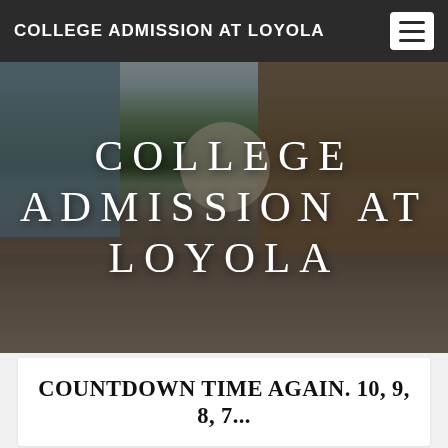COLLEGE ADMISSION AT LOYOLA
[Figure (photo): Campus photo showing students walking in an outdoor plaza with brick buildings and trees. Large white text overlay reads 'COLLEGE ADMISSION AT LOYOLA' in uppercase serif letters.]
COUNTDOWN TIME AGAIN. 10, 9, 8, 7...